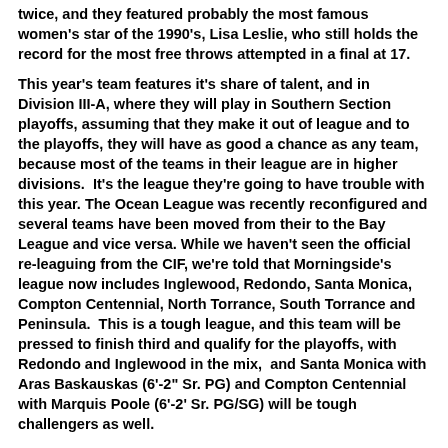twice, and they featured probably the most famous women's star of the 1990's, Lisa Leslie, who still holds the record for the most free throws attempted in a final at 17.
This year's team features it's share of talent, and in Division III-A, where they will play in Southern Section playoffs, assuming that they make it out of league and to the playoffs, they will have as good a chance as any team, because most of the teams in their league are in higher divisions. It's the league they're going to have trouble with this year. The Ocean League was recently reconfigured and several teams have been moved from their to the Bay League and vice versa. While we haven't seen the official re-leaguing from the CIF, we're told that Morningside's league now includes Inglewood, Redondo, Santa Monica, Compton Centennial, North Torrance, South Torrance and Peninsula. This is a tough league, and this team will be pressed to finish third and qualify for the playoffs, with Redondo and Inglewood in the mix, and Santa Monica with Aras Baskauskas (6'-2" Sr. PG) and Compton Centennial with Marquis Poole (6'-2' Sr. PG/SG) will be tough challengers as well.
Here's the roster: